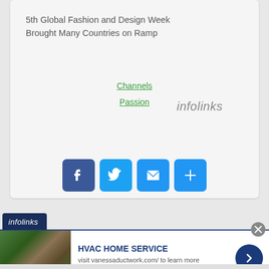5th Global Fashion and Design Week Brought Many Countries on Ramp
Channels
Passion
infolinks
[Figure (screenshot): Green Print Friendly button with printer icon]
[Figure (screenshot): Social share buttons: Facebook, Twitter, Email, and a plus/more button]
[Figure (screenshot): Infolinks advertisement banner for HVAC HOME SERVICE at vanessaductwork.com]